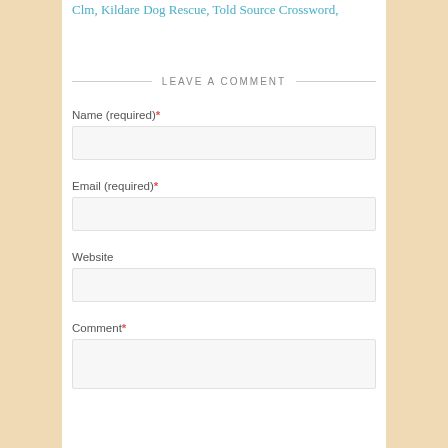Clm, Kildare Dog Rescue, Told Source Crossword,
LEAVE A COMMENT
Name (required) *
Email (required) *
Website
Comment *